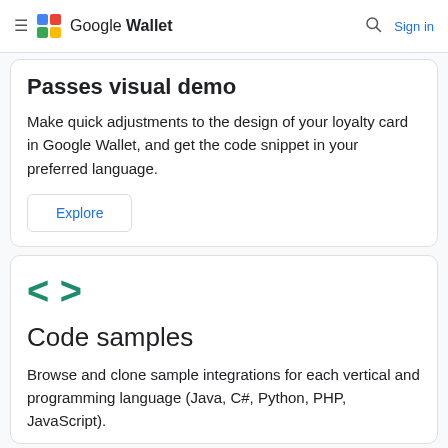Google Wallet — Sign in
Passes visual demo
Make quick adjustments to the design of your loyalty card in Google Wallet, and get the code snippet in your preferred language.
Explore
[Figure (illustration): Code angle-bracket icon < > in teal/green color]
Code samples
Browse and clone sample integrations for each vertical and programming language (Java, C#, Python, PHP, JavaScript).